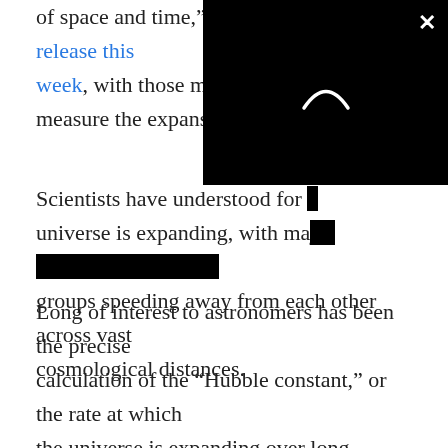of space and time," NASA said in a press release this week, with those markers set to measure the expansion rate of t[he universe]
[Figure (screenshot): A black video player overlay with a white loading spinner arc and a close (×) button in the top-right corner, partially obscuring the article text.]
Scientists have understood for [decades that the] universe is expanding, with major galaxies and galactic groups speeding away from each other across vast cosmological distances.
Long of interest to astronomers has been the precise calculation of the "Hubble constant," or the rate at which the universe is expanding over long distances. Scientists years ago determined how to calculate that rate in part by monitoring the detection of supernova stars across the universe.